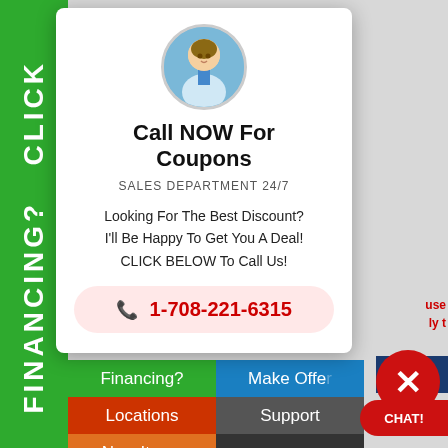FINANCING? CLICK
[Figure (photo): Circular portrait photo of a man in a suit and tie]
Call NOW For Coupons
SALES DEPARTMENT 24/7
Looking For The Best Discount? I'll Be Happy To Get You A Deal! CLICK BELOW To Call Us!
1-708-221-6315
blue tank unit with media and inlet... Check out the complete pa...
Financing?
Make Offer
Locations
Support
New Items
[Figure (logo): Norton Shopping Guarantee badge with checkmark, dated 8/19/2022]
The 3-5 Year... certified water filtration media... Chloramine/Chloramines...